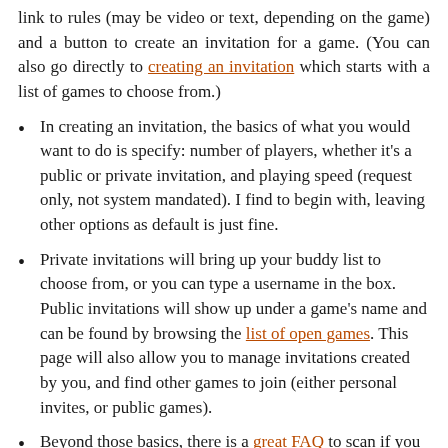link to rules (may be video or text, depending on the game) and a button to create an invitation for a game. (You can also go directly to creating an invitation which starts with a list of games to choose from.)
In creating an invitation, the basics of what you would want to do is specify: number of players, whether it’s a public or private invitation, and playing speed (request only, not system mandated). I find to begin with, leaving other options as default is just fine.
Private invitations will bring up your buddy list to choose from, or you can type a username in the box. Public invitations will show up under a game’s name and can be found by browsing the list of open games. This page will also allow you to manage invitations created by you, and find other games to join (either personal invites, or public games).
Beyond those basics, there is a great FAQ to scan if you want to learn more about any of the features we haven’t covered.
Yucata also take donations in order to help with costs of